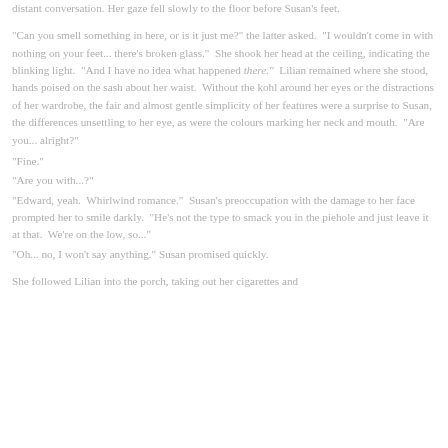distant conversation. Her gaze fell slowly to the floor before Susan's feet.
"Can you smell something in here, or is it just me?" the latter asked.  "I wouldn't come in with nothing on your feet... there's broken glass."  She shook her head at the ceiling, indicating the blinking light.  "And I have no idea what happened there."  Lilian remained where she stood, hands poised on the sash about her waist.  Without the kohl around her eyes or the distractions of her wardrobe, the fair and almost gentle simplicity of her features were a surprise to Susan, the differences unsettling to her eye, as were the colours marking her neck and mouth.  "Are you... alright?"
"Fine."
"Are you with...?"
"Edward, yeah.  Whirlwind romance."  Susan's preoccupation with the damage to her face prompted her to smile darkly.  "He's not the type to smack you in the piehole and just leave it at that.  We're on the low, so..."
"Oh... no, I won't say anything." Susan promised quickly.
She followed Lilian into the porch, taking out her cigarettes and